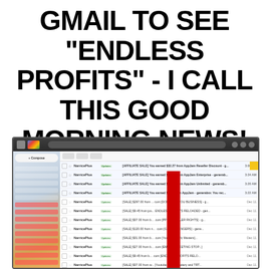GMAIL TO SEE "ENDLESS PROFITS" - I CALL THIS GOOD MORNING NEWS!
[Figure (screenshot): Screenshot of Gmail inbox showing multiple affiliate sale notification emails with earnings such as $32.27, $22.42, $18.76, $8.01 from AppJam, and various other sale amounts. A red vertical bar overlays the center of the inbox list. The Gmail interface shows sidebar navigation, compose button, and email list with sender 'NarricePlus' and Updates tags.]